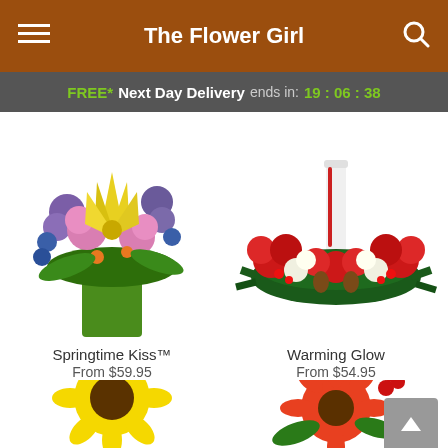The Flower Girl
FREE* Next Day Delivery ends in: 19:06:38
[Figure (photo): Springtime Kiss bouquet - colorful arrangement with yellow lilies, pink roses, purple flowers in green vase]
Springtime Kiss™
From $59.95
[Figure (photo): Warming Glow centerpiece - red carnations, white flowers, pine greenery with candle arrangement]
Warming Glow
From $54.95
[Figure (photo): Partial view of yellow sunflower arrangement at bottom left]
[Figure (photo): Partial view of red and orange flower arrangement at bottom right]